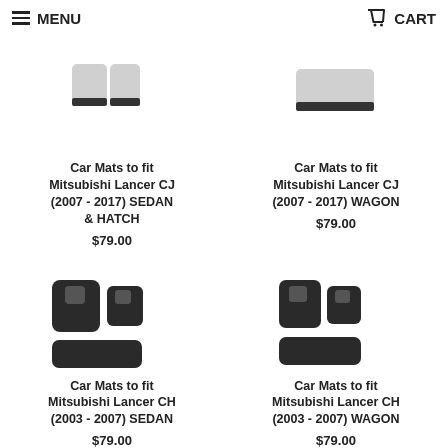MENU   CART
[Figure (photo): Car mats product image for Mitsubishi Lancer CJ (2007-2017) SEDAN & HATCH - top row left]
Car Mats to fit Mitsubishi Lancer CJ (2007 - 2017) SEDAN & HATCH
$79.00
[Figure (photo): Car mats product image for Mitsubishi Lancer CJ (2007-2017) WAGON - top row right]
Car Mats to fit Mitsubishi Lancer CJ (2007 - 2017) WAGON
$79.00
[Figure (photo): Car mats product image for Mitsubishi Lancer CH (2003-2007) SEDAN - bottom row left]
Car Mats to fit Mitsubishi Lancer CH (2003 - 2007) SEDAN
$79.00
[Figure (photo): Car mats product image for Mitsubishi Lancer CH (2003-2007) WAGON - bottom row right]
Car Mats to fit Mitsubishi Lancer CH (2003 - 2007) WAGON
$79.00